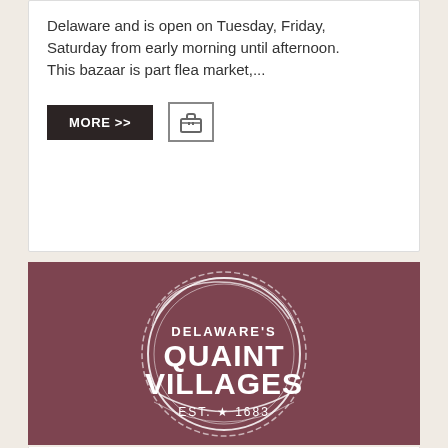Delaware and is open on Tuesday, Friday, Saturday from early morning until afternoon. This bazaar is part flea market,...
[Figure (other): UI buttons: a dark rectangular MORE >> button and a briefcase/menu icon button]
[Figure (logo): Delaware's Quaint Villages logo on dark rose/mauve background. Circular stamp design with text DELAWARE'S QUAINT VILLAGES EST. 1683 with a star.]